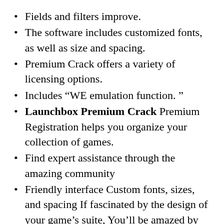Fields and filters improve.
The software includes customized fonts, as well as size and spacing.
Premium Crack offers a variety of licensing options.
Includes “WE emulation function. ”
Launchbox Premium Crack Premium Registration helps you organize your collection of games.
Find expert assistance through the amazing community
Friendly interface Custom fonts, sizes, and spacing If fascinated by the design of your game’s suite, You’ll be amazed by the pixels-level display and fonts that you can customize